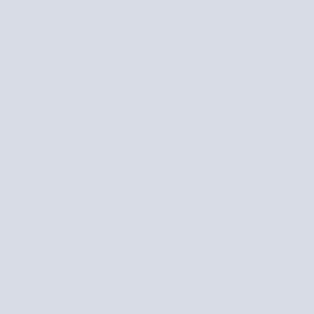ARGENTINA/ARGENTUM/EL...
GEMINIS EQUIVALEN A LAS TO...
[Figure (photo): Four-photo grid showing the September 11 Twin Towers attacks: top-left shows a plane approaching the towers with smoke, top-right shows the towers from a distance, bottom-left shows explosion and fire at the towers, bottom-right shows crowds and debris.]
COLUMNAS DE JACHIN Y BOAZ...
[Figure (photo): Large photo showing a massive smoke cloud from the Twin Towers collapse, blue sky visible above.]